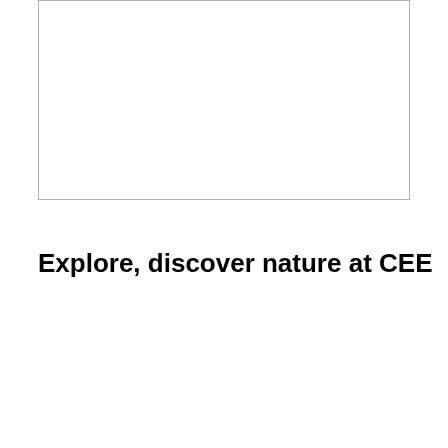[Figure (other): Empty white rectangular image placeholder with a thin border]
Explore, discover nature at CEE